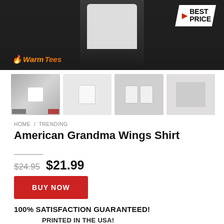[Figure (photo): Hero banner showing a person wearing a white t-shirt with WarmTees logo and BEST PRICE badge]
[Figure (photo): Four product thumbnail images showing the American Grandma Wings Shirt from different angles and on different models]
HOME / TRENDING
American Grandma Wings Shirt
$24.95  $21.99
BUY NOW
100% SATISFACTION GUARANTEED!
PRINTED IN THE USA!